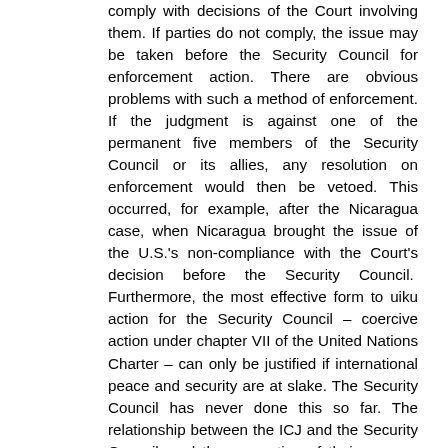comply with decisions of the Court involving them. If parties do not comply, the issue may be taken before the Security Council for enforcement action. There are obvious problems with such a method of enforcement. If the judgment is against one of the permanent five members of the Security Council or its allies, any resolution on enforcement would then be vetoed. This occurred, for example, after the Nicaragua case, when Nicaragua brought the issue of the U.S.'s non-compliance with the Court's decision before the Security Council. Furthermore, the most effective form to uiku action for the Security Council – coercive action under chapter VII of the United Nations Charter – can only be justified if international peace and security are at slake. The Security Council has never done this so far. The relationship between the ICJ and the Security Council, and the separation of their powers, was considered by the Court in 1992 in the Pan Am case. The problem was that these sanctions had been authorized by the Security Council, which resulted with a potential conflict between the Chapter VII functions of the Security Council and the judicial function of the Court. The Court decided, by eleven votes to five, that it could not order the requested